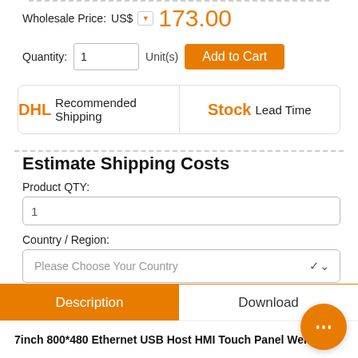Wholesale Price: US$ 173.00
Quantity: 1 Unit(s) Add to Cart
DHL Recommended Shipping   Stock Lead Time
Estimate Shipping Costs
Product QTY:
1
Country / Region:
Please Choose Your Country
Estimator
Description
Download
7inch 800*480 Ethernet USB Host HMI Touch Panel Weinview